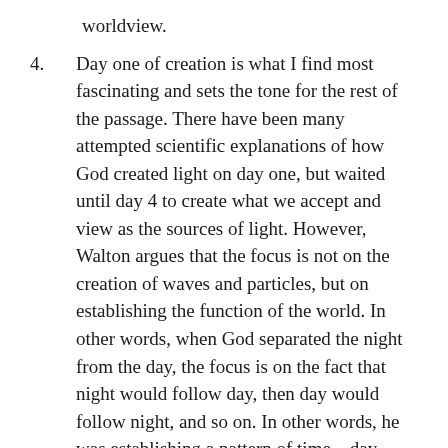worldview.
4. Day one of creation is what I find most fascinating and sets the tone for the rest of the passage. There have been many attempted scientific explanations of how God created light on day one, but waited until day 4 to create what we accept and view as the sources of light. However, Walton argues that the focus is not on the creation of waves and particles, but on establishing the function of the world. In other words, when God separated the night from the day, the focus is on the fact that night would follow day, then day would follow night, and so on. In other words, he was establishing a pattern of time – day, night, day, night, day, night, etc. This is the foundational concept for how we measure time – the passage of days.